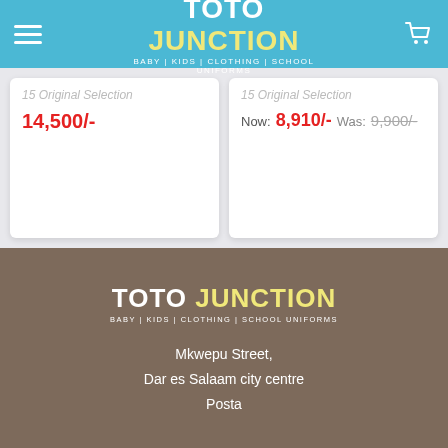TOTO JUNCTION — BABY | KIDS | CLOTHING | SCHOOL UNIFORMS
15 Original Selection — 14,500/-
15 Original Selection — Now: 8,910/- Was: 9,900/-
[Figure (logo): Toto Junction logo with tagline: BABY | KIDS | CLOTHING | SCHOOL UNIFORMS on brown footer background]
Mkwepu Street,
Dar es Salaam city centre
Posta